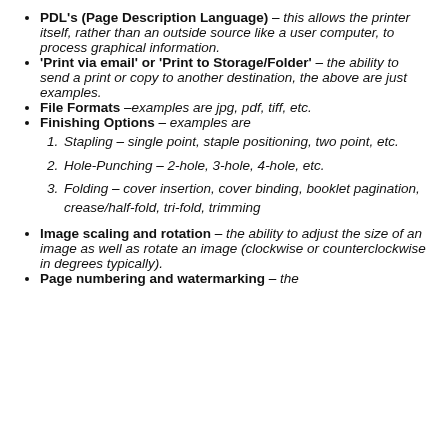PDL's (Page Description Language) – this allows the printer itself, rather than an outside source like a user computer, to process graphical information.
'Print via email' or 'Print to Storage/Folder' – the ability to send a print or copy to another destination, the above are just examples.
File Formats –examples are jpg, pdf, tiff, etc.
Finishing Options – examples are: 1. Stapling – single point, staple positioning, two point, etc. 2. Hole-Punching – 2-hole, 3-hole, 4-hole, etc. 3. Folding – cover insertion, cover binding, booklet pagination, crease/half-fold, tri-fold, trimming
Image scaling and rotation – the ability to adjust the size of an image as well as rotate an image (clockwise or counterclockwise in degrees typically).
Page numbering and watermarking – the